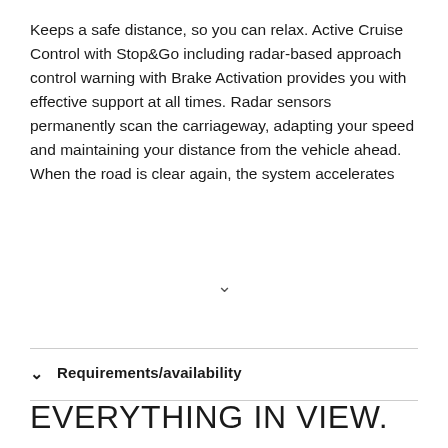Keeps a safe distance, so you can relax. Active Cruise Control with Stop&Go including radar-based approach control warning with Brake Activation provides you with effective support at all times. Radar sensors permanently scan the carriageway, adapting your speed and maintaining your distance from the vehicle ahead. When the road is clear again, the system accelerates
Requirements/availability
EVERYTHING IN VIEW.